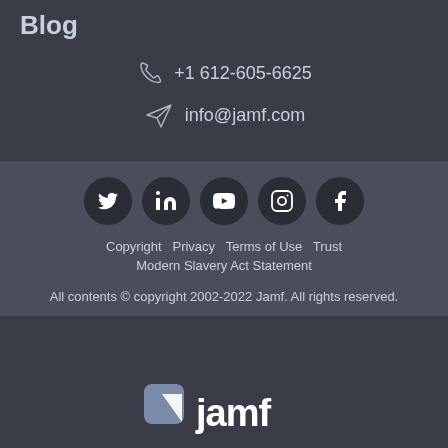Blog
+1 612-605-6625
info@jamf.com
[Figure (other): Social media icons: Twitter, LinkedIn, YouTube, Instagram, Facebook]
Copyright   Privacy   Terms of Use   Trust   Modern Slavery Act Statement
All contents © copyright 2002-2022 Jamf. All rights reserved.
[Figure (logo): Jamf logo at bottom of page]